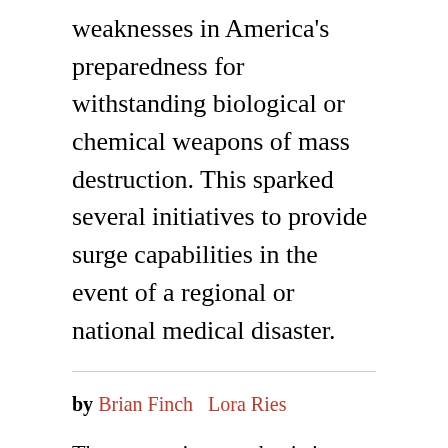weaknesses in America's preparedness for withstanding biological or chemical weapons of mass destruction. This sparked several initiatives to provide surge capabilities in the event of a regional or national medical disaster.
by Brian Finch   Lora Ries
The coronavirus pandemic is straining most federal and state emergency resources. But the strain—and the government's response—would have been far worse, if legislation enacted in the previous decades had not laid a solid foundation...